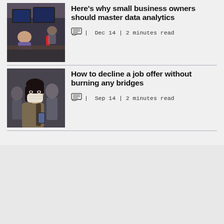Here's why small business owners should master data analytics
Dec 14 | 2 minutes read
How to decline a job offer without burning any bridges
Sep 14 | 2 minutes read